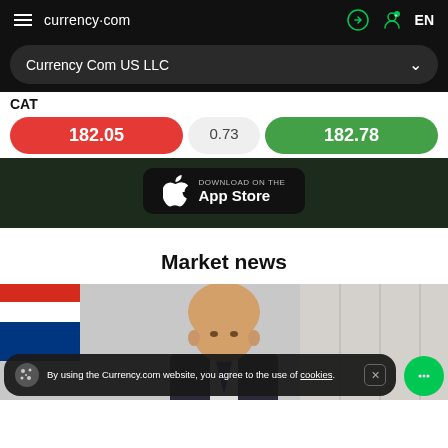currency.com  EN
Currency Com US LLC
CAT
182.05   0.73   182.78
[Figure (screenshot): App Store download button on dark green background]
Market news
[Figure (photo): Photo of a bald man in a suit, with a Russian flag visible in the background]
By using the Currency.com website, you agree to the use of cookies.